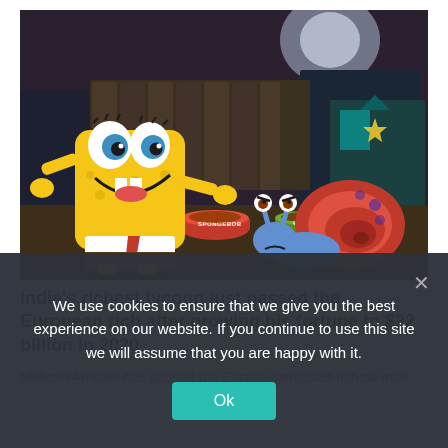[Figure (photo): SpongeBob SquarePants and Gary the snail animated movie scene, with SpongeBob looking excited next to food bowls labeled 'SPONGEBOB' and 'GARY' in a dark alley setting.]
India's richest tycoon just passed the European rich after growing his fortune to $22 billion in 2020
Mukesh Ambani has passed the Europe increased richest man
We use cookies to ensure that we give you the best experience on our website. If you continue to use this site we will assume that you are happy with it.